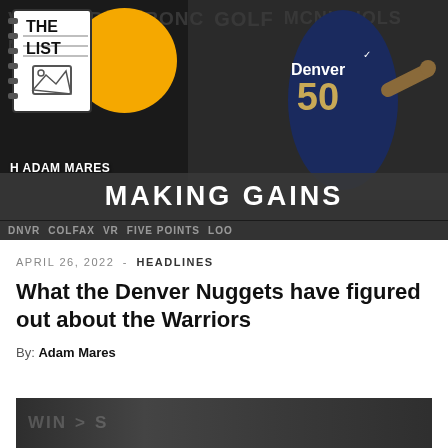[Figure (photo): Hero image for 'The List with Adam Mares' podcast/show. Shows a Denver Nuggets player wearing jersey number 50, with a notebook-style logo, yellow circle, dark overlay bar reading 'MAKING GAINS', and background text with Denver neighborhood names.]
APRIL 26, 2022 - HEADLINES
What the Denver Nuggets have figured out about the Warriors
By: Adam Mares
[Figure (photo): Partially visible second article image at the bottom of the page, showing a dark background with faint text overlay.]